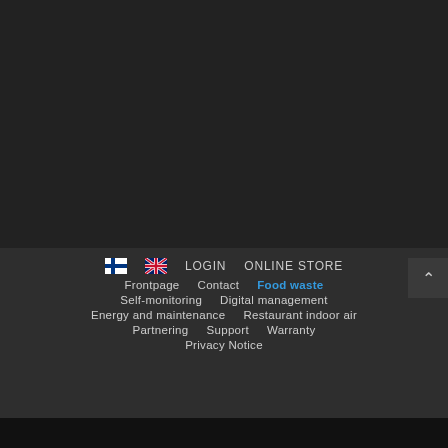[Figure (screenshot): Dark background top area of a website]
LOGIN
ONLINE STORE
Frontpage
Contact
Food waste
Self-monitoring
Digital management
Energy and maintenance
Restaurant indoor air
Partnering
Support
Warranty
Privacy Notice